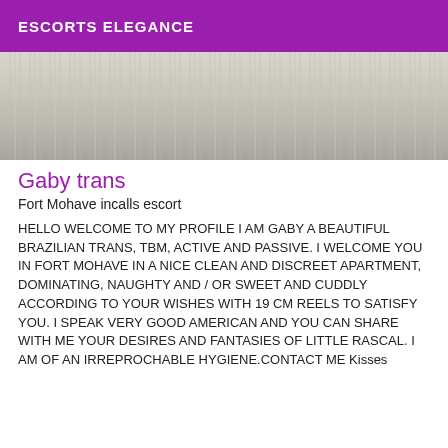ESCORTS ELEGANCE
[Figure (photo): Close-up photo of a knitted or textured fabric in light beige/cream color with vertical ribbed pattern]
Gaby trans
Fort Mohave incalls escort
HELLO WELCOME TO MY PROFILE I AM GABY A BEAUTIFUL BRAZILIAN TRANS, TBM, ACTIVE AND PASSIVE. I WELCOME YOU IN FORT MOHAVE IN A NICE CLEAN AND DISCREET APARTMENT, DOMINATING, NAUGHTY AND / OR SWEET AND CUDDLY ACCORDING TO YOUR WISHES WITH 19 CM REELS TO SATISFY YOU. I SPEAK VERY GOOD AMERICAN AND YOU CAN SHARE WITH ME YOUR DESIRES AND FANTASIES OF LITTLE RASCAL. I AM OF AN IRREPROCHABLE HYGIENE.CONTACT ME Kisses